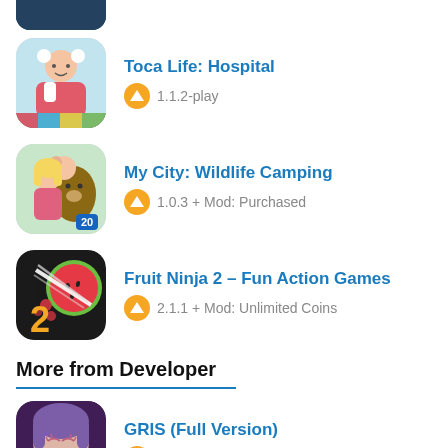[Figure (screenshot): Partially clipped app icon at top of page]
Toca Life: Hospital
1.1.2-play
My City: Wildlife Camping
1.0.3 + Mod: Purchased
Fruit Ninja 2 – Fun Action Games
2.1.1 + Mod: Unlimited Coins
More from Developer
GRIS (Full Version)
1.0.2
The Swords of Ditto